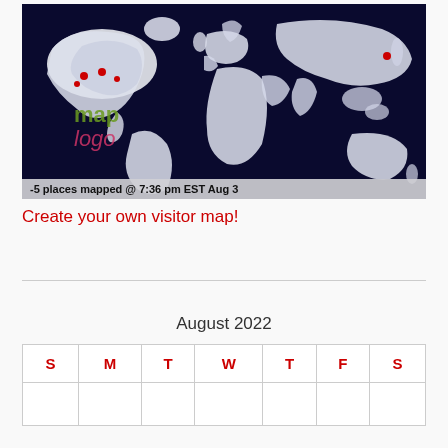[Figure (map): World visitor map showing approximately 5 visited locations marked with red dots. Dark navy background with white landmasses. Shows text 'map logo' overlaid on the left side, and caption '-5 places mapped @ 7:36 pm EST Aug 3' at the bottom.]
Create your own visitor map!
| S | M | T | W | T | F | S |
| --- | --- | --- | --- | --- | --- | --- |
|  |  |  |  |  |  |  |